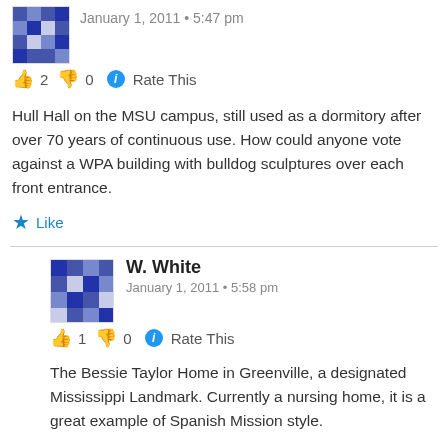[Figure (illustration): Avatar image — pixelated geometric pattern in blue/white]
January 1, 2011 • 5:47 pm
👍 2 👎 0 ℹ Rate This
Hull Hall on the MSU campus, still used as a dormitory after over 70 years of continuous use. How could anyone vote against a WPA building with bulldog sculptures over each front entrance.
★ Like
[Figure (illustration): Avatar image — pixelated geometric pattern in blue/white for W. White]
W. White
January 1, 2011 • 5:58 pm
👍 1 👎 0 ℹ Rate This
The Bessie Taylor Home in Greenville, a designated Mississippi Landmark. Currently a nursing home, it is a great example of Spanish Mission style.
★ Like